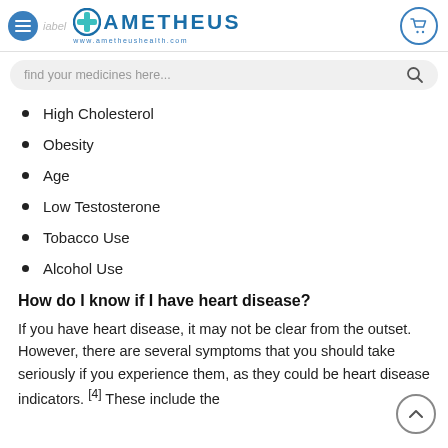AMETHEUS www.ametheushealth.com
High Cholesterol
Obesity
Age
Low Testosterone
Tobacco Use
Alcohol Use
How do I know if I have heart disease?
If you have heart disease, it may not be clear from the outset. However, there are several symptoms that you should take seriously if you experience them, as they could be heart disease indicators. [4] These include the